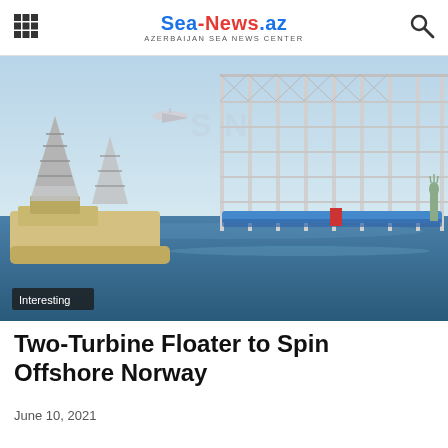Sea-News.az AZERBAIJAN SEA NEWS CENTER
[Figure (illustration): Conceptual illustration of a floating offshore wind turbine platform at sea, with a large lattice/truss vertical structure resembling wind turbines, a ship with Eiffel Tower-like structures, aircraft flying overhead, a Statue of Liberty in the right background, and blue ocean water.]
Interesting
Two-Turbine Floater to Spin Offshore Norway
June 10, 2021